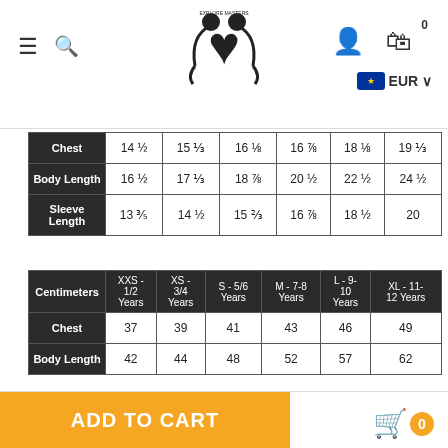Navigation header with logo, menu, search, user icon, cart, EUR currency selector
|  | 14 ½ | 15 ⅓ | 16 ⅛ | 16 ⅞ | 18 ⅛ | 19 ⅓ |
| --- | --- | --- | --- | --- | --- | --- |
| Chest | 14 ½ | 15 ⅓ | 16 ⅛ | 16 ⅞ | 18 ⅛ | 19 ⅓ |
| Body Length | 16 ½ | 17 ⅓ | 18 ⅞ | 20 ½ | 22 ½ | 24 ½ |
| Sleeve Length | 13 ⅗ | 14 ½ | 15 ⅔ | 16 ⅞ | 18 ½ | 20 |
| Centimeters | XXS - 1/2 Years | XS - 3/4 Years | S - 5/6 Years | M - 7-8 Years | L - 9-10 Years | XL - 11-12 Years |
| --- | --- | --- | --- | --- | --- | --- |
| Chest | 37 | 39 | 41 | 43 | 46 | 49 |
| Body Length | 42 | 44 | 48 | 52 | 57 | 62 |
ADD TO CART  0